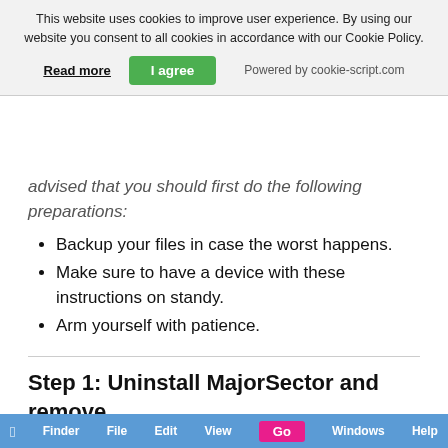This website uses cookies to improve user experience. By using our website you consent to all cookies in accordance with our Cookie Policy.
Read more   I agree   Powered by cookie-script.com
advised that you should first do the following preparations:
Backup your files in case the worst happens.
Make sure to have a device with these instructions on standy.
Arm yourself with patience.
Step 1: Uninstall MajorSector and remove related files and objects
1. Hit the ⇧+⌘+U keys to open Utilities. Another way is to click on "Go" and then click "Utilities", like the image below shows:
[Figure (screenshot): Screenshot of Mac menu bar showing Finder, File, Edit, View, Go, Windows, Help menu items]